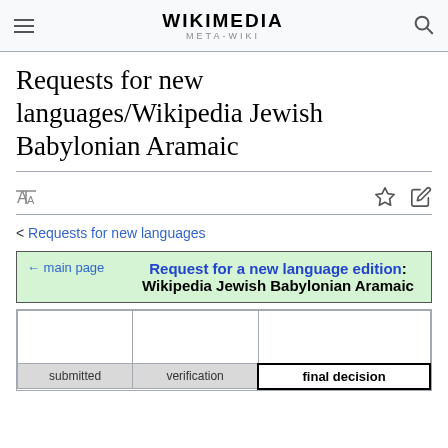WIKIMEDIA META-WIKI
Requests for new languages/Wikipedia Jewish Babylonian Aramaic
< Requests for new languages
| ← main page | Request for a new language edition: Wikipedia Jewish Babylonian Aramaic |
| --- | --- |
| submitted | verification | final decision |
| --- | --- | --- |